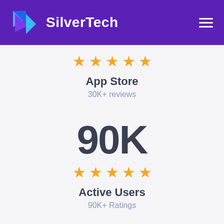SilverTech
[Figure (infographic): Five gold stars rating row for App Store]
App Store
30K+ reviews
90K
[Figure (infographic): Five gold stars rating row for Active Users]
Active Users
90K+ Ratings